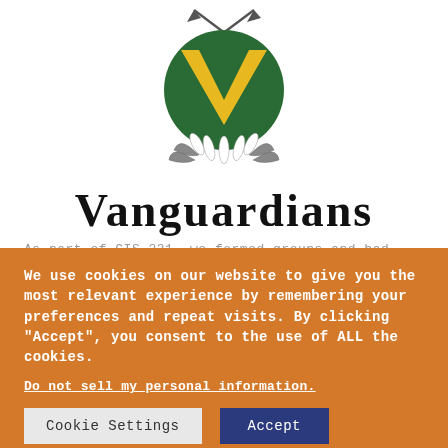[Figure (logo): Vanguardians logo: a circular green and yellow V emblem with feather/petal decorations at the bottom and crossed arrows at the top]
Vanguardians
As part of CIS-231, we formed groups and had built to something for the secured
We use cookies on our website to give you the most relevant experience by remembering your preferences and repeat visits. By clicking “Accept”, you consent to the use of ALL the cookies.
Do not sell my personal information.
Cookie Settings
Accept